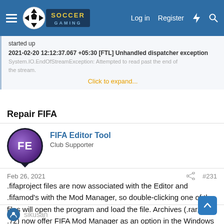Soccer Gaming — Log in | Register
started up
2021-02-20 12:12:37.067 +05:30 [FTL] Unhandled dispatcher exception
System.IO.EndOfStreamException: Attempted to read past the end of the stream.
Click to expand...
Repair FIFA
FIFA Editor Tool
Club Supporter
Feb 26, 2021
#231
.fifaproject files are now associated with the Editor and .fifamod's with the Mod Manager, so double-clicking one of the files will open the program and load the file. Archives (.rar, .zip, .7z) now offer FIFA Mod Manager as an option in the Windows "Open With" menu.
sikusan